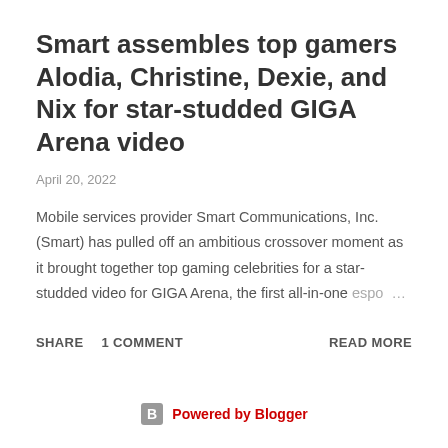Smart assembles top gamers Alodia, Christine, Dexie, and Nix for star-studded GIGA Arena video
April 20, 2022
Mobile services provider Smart Communications, Inc. (Smart) has pulled off an ambitious crossover moment as it brought together top gaming celebrities for a star-studded video for GIGA Arena, the first all-in-one espo…
Powered by Blogger